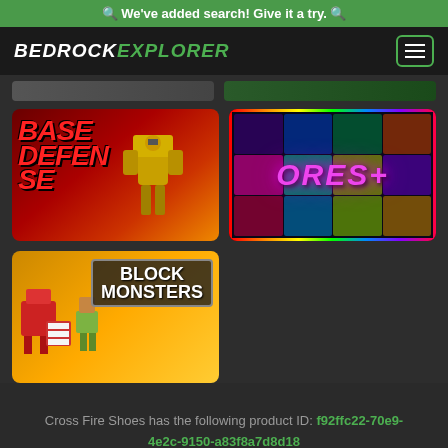🔍 We've added search! Give it a try. 🔍
[Figure (logo): Bedrock Explorer logo with white 'BEDROCK' and green 'EXPLORER' text in bold italic style, with hamburger menu icon in green border on right]
[Figure (screenshot): Partial game thumbnails row at top]
[Figure (screenshot): Base Defense game thumbnail - red background with large red text 'BASE DEFENSE' and robotic/mech character imagery]
[Figure (screenshot): Ores+ game thumbnail - dark background with rainbow border, pink glowing 'ORES+' text and colorful gem/ore imagery]
[Figure (screenshot): Block Monsters game thumbnail - orange/yellow background showing blocky monster characters with 'BLOCK MONSTERS' white text badge]
Cross Fire Shoes has the following product ID: f92ffc22-70e9-4e2c-9150-a83f8a7d8d18